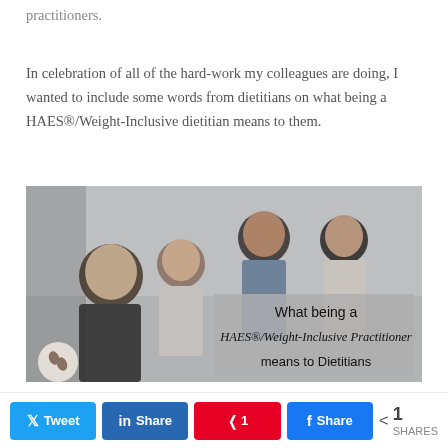practitioners.
In celebration of all of the hard-work my colleagues are doing, I wanted to include some words from dietitians on what being a HAES®/Weight-Inclusive dietitian means to them.
[Figure (photo): Group of four women sitting and talking together, with an overlay text box reading 'What being a HAES®/Weight-Inclusive Practitioner means to Dietitians' and a small logo circle in the bottom left.]
Tweet  Share  1 Pin  Share  < 1 SHARES